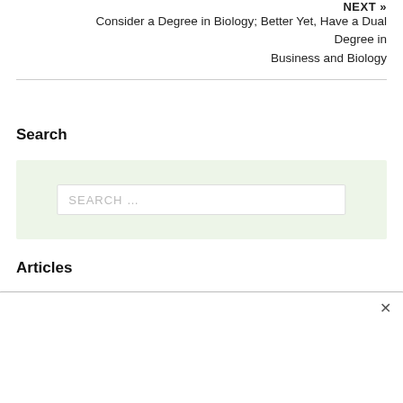NEXT »
Consider a Degree in Biology; Better Yet, Have a Dual Degree in Business and Biology
Search
[Figure (screenshot): Search input box with placeholder text 'SEARCH ...' on a light green background]
Articles
[Figure (screenshot): Ad/overlay box with a close X button in top right corner]